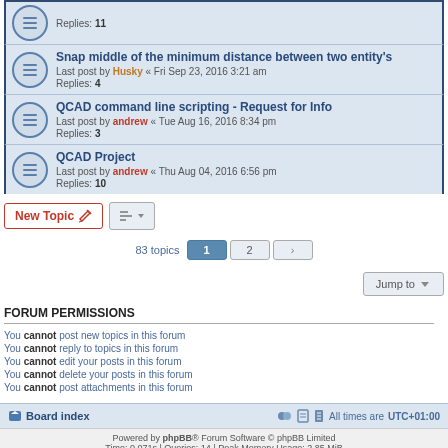Replies: 11
Snap middle of the minimum distance between two entity's
Last post by Husky « Fri Sep 23, 2016 3:21 am
Replies: 4
QCAD command line scripting - Request for Info
Last post by andrew « Tue Aug 16, 2016 8:34 pm
Replies: 3
QCAD Project
Last post by andrew « Thu Aug 04, 2016 6:56 pm
Replies: 10
New Topic | Sort | 83 topics | 1 | 2 | > | Jump to
FORUM PERMISSIONS
You cannot post new topics in this forum
You cannot reply to topics in this forum
You cannot edit your posts in this forum
You cannot delete your posts in this forum
You cannot post attachments in this forum
Board index | All times are UTC+01:00
Powered by phpBB® Forum Software © phpBB Limited
Time: 0.071s | Queries: 14 | Peak Memory Usage: 2.85 MiB